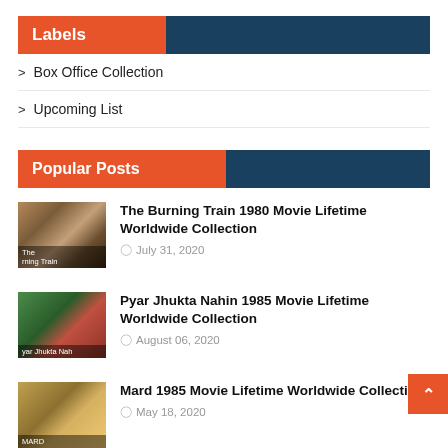Labels
Box Office Collection
Upcoming List
Popular Posts
[Figure (photo): Movie poster thumbnail for The Burning Train 1980]
The Burning Train 1980 Movie Lifetime Worldwide Collection
July 31, 2020
[Figure (photo): Movie poster thumbnail for Pyar Jhukta Nahin 1985]
Pyar Jhukta Nahin 1985 Movie Lifetime Worldwide Collection
August 06, 2020
[Figure (photo): Movie poster thumbnail for Mard 1985]
Mard 1985 Movie Lifetime Worldwide Collection
May 18, 2020